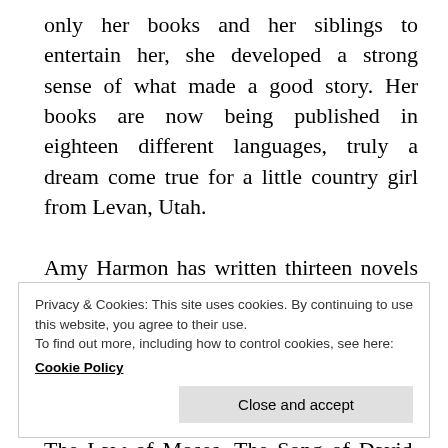only her books and her siblings to entertain her, she developed a strong sense of what made a good story. Her books are now being published in eighteen different languages, truly a dream come true for a little country girl from Levan, Utah.

Amy Harmon has written thirteen novels – the USA Today Bestsellers The Smallest Part, The Bird and The Sword, Making Faces and Running Barefoot, as well as the #1 Amazon bestselling historical From Sand and Ash, The Queen and The Cure, The Law of Moses, The Song of David, Infinity + One, Slow
Privacy & Cookies: This site uses cookies. By continuing to use this website, you agree to their use.
To find out more, including how to control cookies, see here:
Cookie Policy
Close and accept